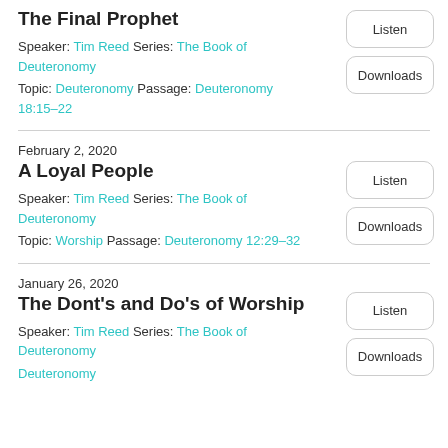The Final Prophet
Speaker: Tim Reed Series: The Book of Deuteronomy
Topic: Deuteronomy Passage: Deuteronomy 18:15–22
February 2, 2020
A Loyal People
Speaker: Tim Reed Series: The Book of Deuteronomy
Topic: Worship Passage: Deuteronomy 12:29–32
January 26, 2020
The Dont's and Do's of Worship
Speaker: Tim Reed Series: The Book of Deuteronomy